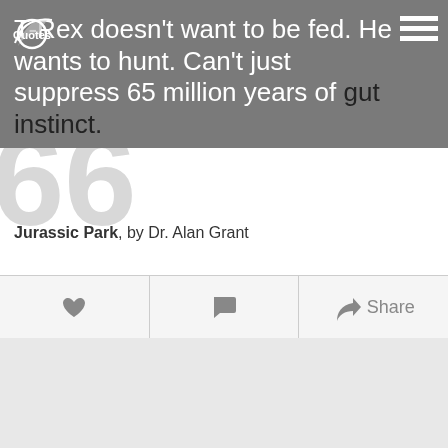thuyQuotes
T-Rex doesn't want to be fed. He wants to hunt. Can't just suppress 65 million years of gut instinct.
Jurassic Park, by Dr. Alan Grant